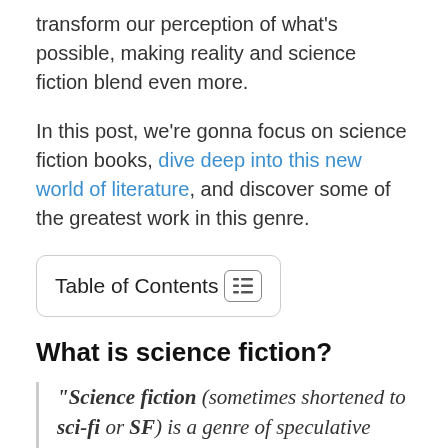transform our perception of what's possible, making reality and science fiction blend even more.
In this post, we're gonna focus on science fiction books, dive deep into this new world of literature, and discover some of the greatest work in this genre.
Table of Contents
What is science fiction?
“Science fiction (sometimes shortened to sci-fi or SF) is a genre of speculative fiction that